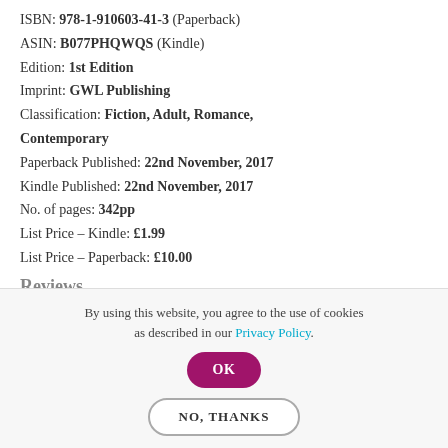ISBN: 978-1-910603-41-3 (Paperback)
ASIN: B077PHQWQS (Kindle)
Edition: 1st Edition
Imprint: GWL Publishing
Classification: Fiction, Adult, Romance, Contemporary
Paperback Published: 22nd November, 2017
Kindle Published: 22nd November, 2017
No. of pages: 342pp
List Price – Kindle: £1.99
List Price – Paperback: £10.00
Reviews
By using this website, you agree to the use of cookies as described in our Privacy Policy.
OK
NO, THANKS